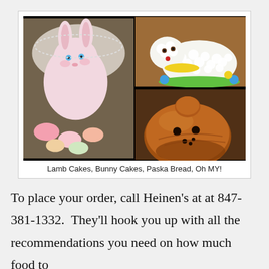[Figure (photo): Photo collage of Easter bakery items: left panel shows a pink ceramic bunny figurine with colorful meringue cookies; top-right panel shows a white coconut lamb cake with yellow frosting collar and blue/yellow flower decorations; bottom-right panel shows a glossy brown Paska bread shaped like a face/bear.]
Lamb Cakes, Bunny Cakes, Paska Bread, Oh MY!
To place your order, call Heinen's at at 847-381-1332.  They'll hook you up with all the recommendations you need on how much food to